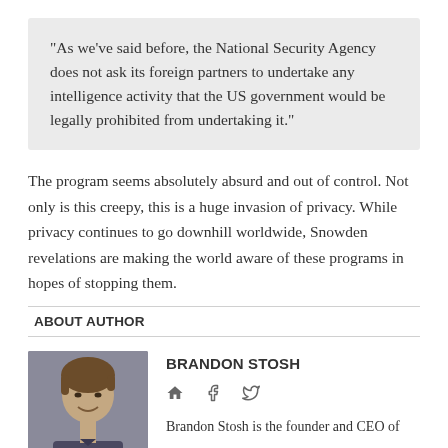“As we’ve said before, the National Security Agency does not ask its foreign partners to undertake any intelligence activity that the US government would be legally prohibited from undertaking it.”
The program seems absolutely absurd and out of control. Not only is this creepy, this is a huge invasion of privacy. While privacy continues to go downhill worldwide, Snowden revelations are making the world aware of these programs in hopes of stopping them.
ABOUT AUTHOR
[Figure (photo): Photo of Brandon Stosh, a young person with short brown hair, smiling, wearing a dark shirt.]
BRANDON STOSH
Brandon Stosh is the founder and CEO of